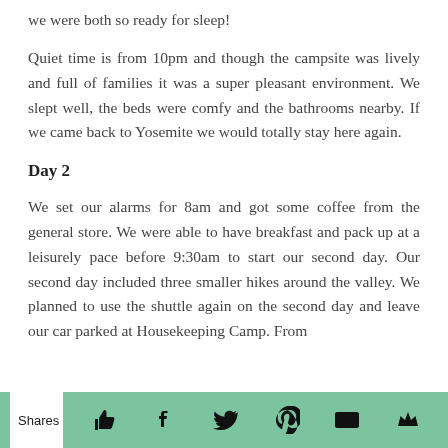we were both so ready for sleep!
Quiet time is from 10pm and though the campsite was lively and full of families it was a super pleasant environment. We slept well, the beds were comfy and the bathrooms nearby. If we came back to Yosemite we would totally stay here again.
Day 2
We set our alarms for 8am and got some coffee from the general store. We were able to have breakfast and pack up at a leisurely pace before 9:30am to start our second day. Our second day included three smaller hikes around the valley. We planned to use the shuttle again on the second day and leave our car parked at Housekeeping Camp. From
Shares